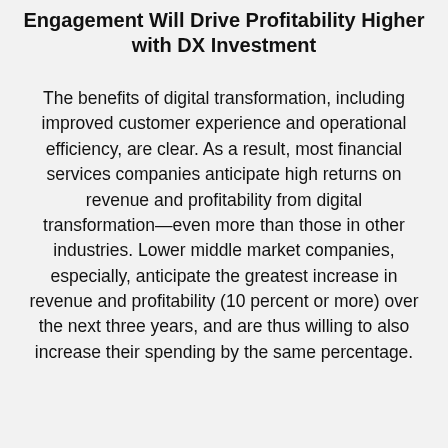Engagement Will Drive Profitability Higher with DX Investment
The benefits of digital transformation, including improved customer experience and operational efficiency, are clear. As a result, most financial services companies anticipate high returns on revenue and profitability from digital transformation—even more than those in other industries. Lower middle market companies, especially, anticipate the greatest increase in revenue and profitability (10 percent or more) over the next three years, and are thus willing to also increase their spending by the same percentage.